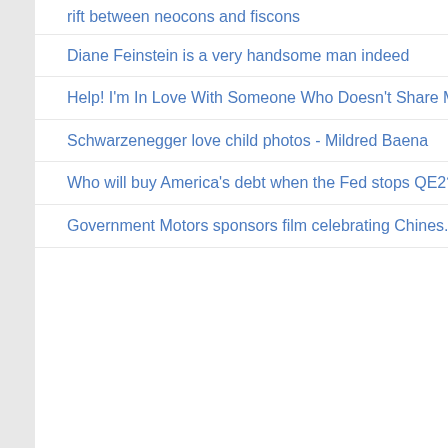rift between neocons and fiscons
Diane Feinstein is a very handsome man indeed
Help! I'm In Love With Someone Who Doesn't Share M...
Schwarzenegger love child photos - Mildred Baena
Who will buy America's debt when the Fed stops QE2?
Government Motors sponsors film celebrating Chines...